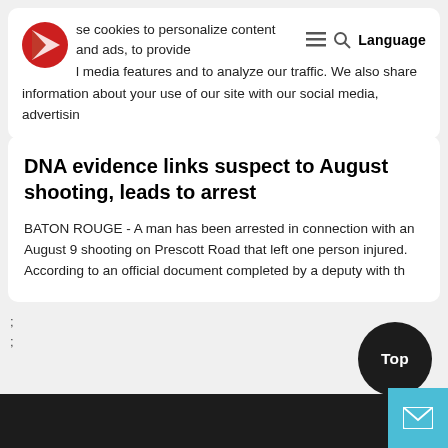se cookies to personalize content and ads, to provide l media features and to analyze our traffic. We also share information about your use of our site with our social media, advertisin
DNA evidence links suspect to August shooting, leads to arrest
BATON ROUGE - A man has been arrested in connection with an August 9 shooting on Prescott Road that left one person injured.
According to an official document completed by a deputy with th
;
;